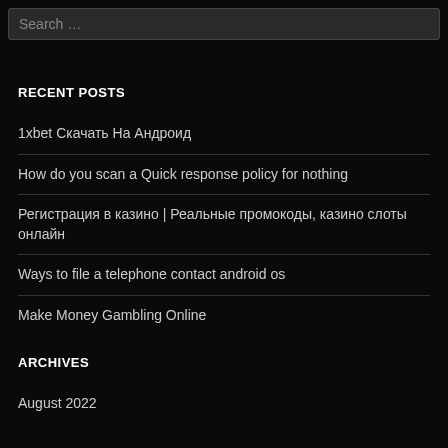Search ...
RECENT POSTS
1xbet Скачать На Андроид
How do you scan a Quick response policy for nothing
Регистрация в казино | Реальные промокоды, казино слоты онлайн
Ways to file a telephone contact android os
Make Money Gambling Online
ARCHIVES
August 2022